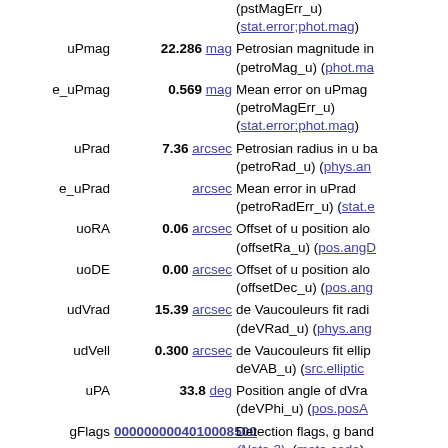| Name | Value | Unit | Description |
| --- | --- | --- | --- |
|  |  | (pstMagErr_u) | (stat.error;phot.mag) |
| uPmag | 22.286 | mag | Petrosian magnitude in... (petroMag_u) (phot.ma... |
| e_uPmag | 0.569 | mag | Mean error on uPmag (petroMagErr_u) (stat.error;phot.mag) |
| uPrad | 7.36 | arcsec | Petrosian radius in u ba... (petroRad_u) (phys.an... |
| e_uPrad |  | arcsec | Mean error in uPrad (petroRadErr_u) (stat.e... |
| uoRA | 0.06 | arcsec | Offset of u position alo... (offsetRa_u) (pos.angD... |
| uoDE | 0.00 | arcsec | Offset of u position alo... (offsetDec_u) (pos.ang... |
| udVrad | 15.39 | arcsec | de Vaucouleurs fit radi... (deVRad_u) (phys.ang... |
| udVell | 0.300 | arcsec | de Vaucouleurs fit ellip... deVAB_u) (src.elliptic... |
| uPA | 33.8 | deg | Position angle of dVra... (deVPhi_u) (pos.posA... |
| gFlags | 0000000004010008500 |  | Detection flags, g band (Note 3) (meta.code) |